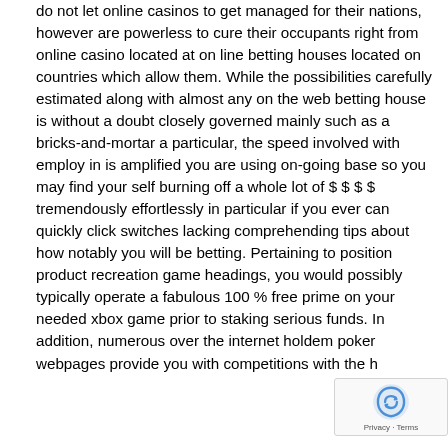do not let online casinos to get managed for their nations, however are powerless to cure their occupants right from online casino located at on line betting houses located on countries which allow them. While the possibilities carefully estimated along with almost any on the web betting house is without a doubt closely governed mainly such as a bricks-and-mortar a particular, the speed involved with employ in is amplified you are using on-going base so you may find your self burning off a whole lot of $ $ $ $ tremendously effortlessly in particular if you ever can quickly click switches lacking comprehending tips about how notably you will be betting. Pertaining to position product recreation game headings, you would possibly typically operate a fabulous 100 % free prime on your needed xbox game prior to staking serious funds. In addition, numerous over the internet holdem poker webpages provide you with competitions with the help of